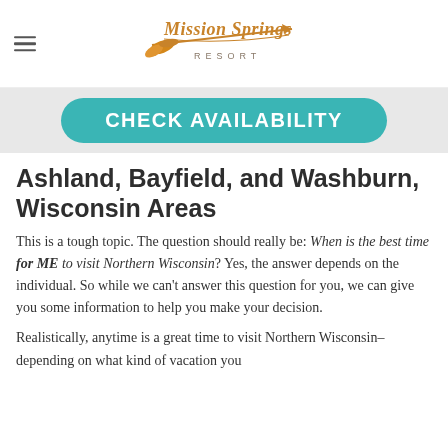[Figure (logo): Mission Springs Resort logo with decorative arrow and feather in orange/gold, with 'RESORT' text below in spaced caps]
CHECK AVAILABILITY
Ashland, Bayfield, and Washburn, Wisconsin Areas
This is a tough topic. The question should really be: When is the best time for ME to visit Northern Wisconsin? Yes, the answer depends on the individual. So while we can't answer this question for you, we can give you some information to help you make your decision.
Realistically, anytime is a great time to visit Northern Wisconsin–depending on what kind of vacation you